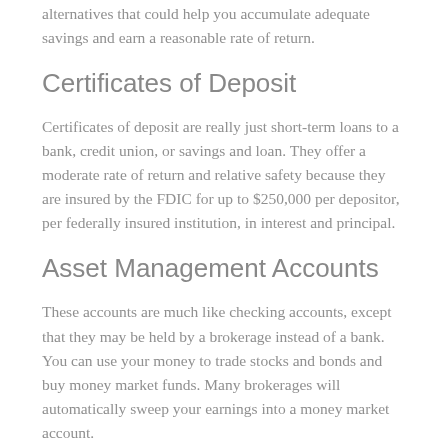alternatives that could help you accumulate adequate savings and earn a reasonable rate of return.
Certificates of Deposit
Certificates of deposit are really just short-term loans to a bank, credit union, or savings and loan. They offer a moderate rate of return and relative safety because they are insured by the FDIC for up to $250,000 per depositor, per federally insured institution, in interest and principal.
Asset Management Accounts
These accounts are much like checking accounts, except that they may be held by a brokerage instead of a bank. You can use your money to trade stocks and bonds and buy money market funds. Many brokerages will automatically sweep your earnings into a money market account.